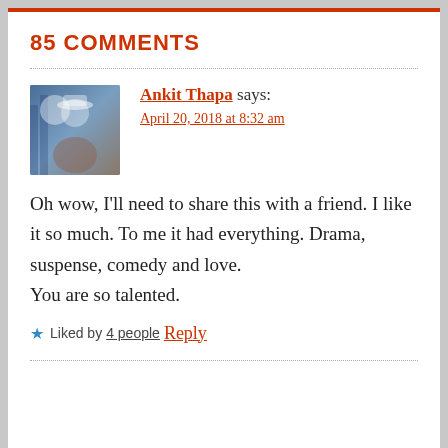85 COMMENTS
Ankit Thapa says:
April 20, 2018 at 8:32 am
Oh wow, I'll need to share this with a friend. I like it so much. To me it had everything. Drama, suspense, comedy and love.
You are so talented.
★ Liked by 4 people
Reply